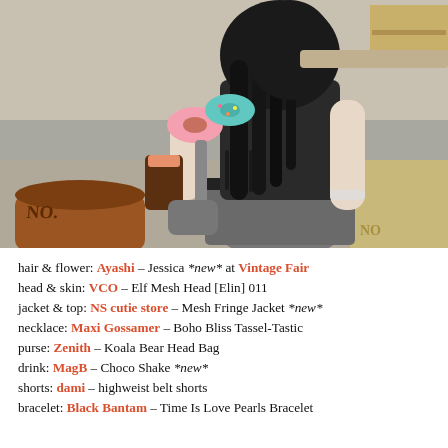[Figure (photo): 3D rendered anime-style female character with black hair holding a drink and donut, wearing a black leather jacket, gray shorts, and a bracelet, in an outdoor scene with wooden barrels and boxes.]
hair & flower: Ayashi – Jessica *new* at Vintage Fair
head & skin: VCO – Elf Mesh Head [Elin] 011
jacket & top: NS cutie store – Mesh Fringe Jacket *new*
necklace: Maxi Gossamer – Boho Bliss Tassel-Tastic
purse: Zenith – Koala Bear Head Bag
drink: MagB – Choco Shake *new*
shorts: dami – highweist belt shorts
bracelet: Black Bantam – Time Is Love Pearls Bracelet